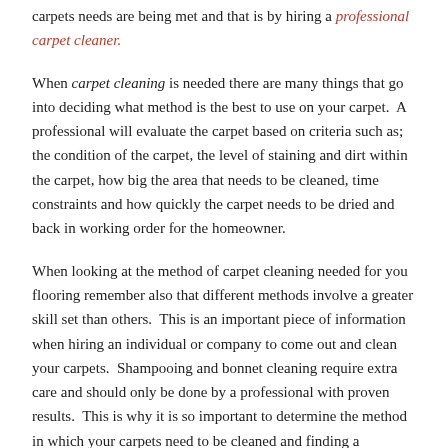carpets needs are being met and that is by hiring a professional carpet cleaner.
When carpet cleaning is needed there are many things that go into deciding what method is the best to use on your carpet.  A professional will evaluate the carpet based on criteria such as; the condition of the carpet, the level of staining and dirt within the carpet, how big the area that needs to be cleaned, time constraints and how quickly the carpet needs to be dried and back in working order for the homeowner.
When looking at the method of carpet cleaning needed for you flooring remember also that different methods involve a greater skill set than others.  This is an important piece of information when hiring an individual or company to come out and clean your carpets.  Shampooing and bonnet cleaning require extra care and should only be done by a professional with proven results.  This is why it is so important to determine the method in which your carpets need to be cleaned and finding a